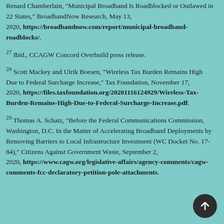Renard Chamberlain, "Municipal Broadband Is Roadblocked or Outlawed in 22 States," BroadbandNow Research, May 13, 2020, https://broadbandnow.com/report/municipal-broadband-roadblocks/.
27 Ibid., CCAGW Concord Overbuild press release.
28 Scott Mackey and Ulrik Boesen, "Wireless Tax Burden Remains High Due to Federal Surcharge Increase," Tax Foundation, November 17, 2020, https://files.taxfoundation.org/20201116124929/Wireless-Tax-Burden-Remains-High-Due-to-Federal-Surcharge-Increase.pdf.
29 Thomas A. Schatz, "Before the Federal Communications Commission, Washington, D.C. In the Matter of Accelerating Broadband Deployments by Removing Barriers to Local Infrastructure Investment (WC Docket No. 17-84)," Citizens Against Government Waste, September 2, 2020, https://www.cagw.org/legislative-affairs/agency-comments/cagw-comments-fcc-declaratory-petition-pole-attachments.